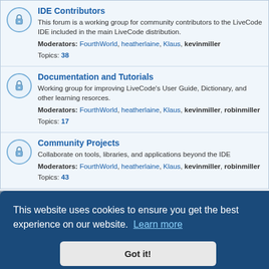IDE Contributors - This forum is a working group for community contributors to the LiveCode IDE included in the main LiveCode distribution. Moderators: FourthWorld, heatherlaine, Klaus, kevinmiller. Topics: 38
Documentation and Tutorials - Working group for improving LiveCode's User Guide, Dictionary, and other learning resorces. Moderators: FourthWorld, heatherlaine, Klaus, kevinmiller, robinmiller. Topics: 17
Community Projects - Collaborate on tools, libraries, and applications beyond the IDE. Moderators: FourthWorld, heatherlaine, Klaus, kevinmiller, robinmiller. Topics: 43
Third Party Extension Support
Marketing Your Products
This website uses cookies to ensure you get the best experience on our website. Learn more
Got it!
chartsEngine - Get help and support using chartsEngine for LiveCode.